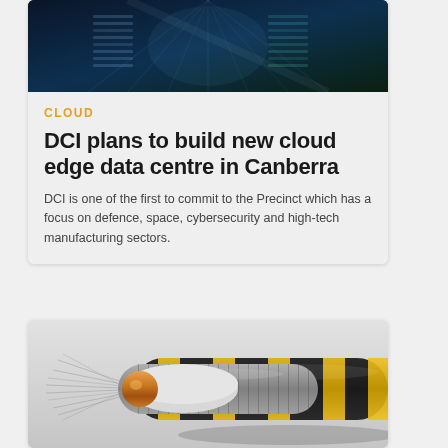[Figure (photo): Data centre / server room image with blue-green digital overlay showing server racks and network lights]
CLOUD
DCI plans to build new cloud edge data centre in Canberra
DCI is one of the first to commit to the Precinct which has a focus on defence, space, cybersecurity and high-tech manufacturing sectors.
[Figure (photo): Cross-section of coaxial cables showing copper core, shielding layers, and outer black and yellow striped jacket]